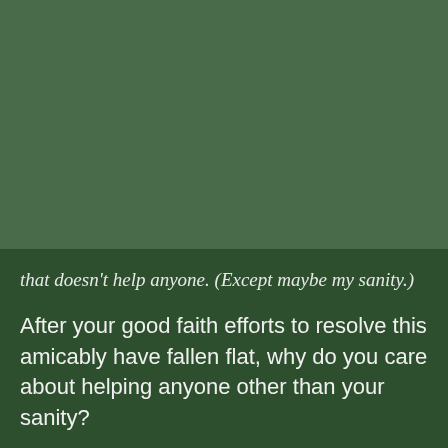[Figure (photo): Dark green background filling the upper portion of the page]
that doesn't help anyone. (Except maybe my sanity.)
After your good faith efforts to resolve this amicably have fallen flat, why do you care about helping anyone other than your sanity?